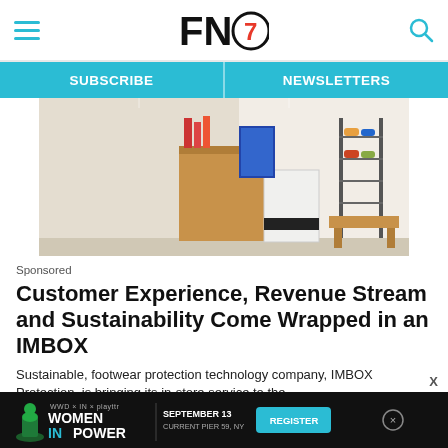FN7 - Footwear News header with hamburger menu and search
SUBSCRIBE | NEWSLETTERS
[Figure (photo): Interior of a shoe retail store showing wooden display fixtures, sneakers on shelves, and an IMBOX protection unit]
Sponsored
Customer Experience, Revenue Stream and Sustainability Come Wrapped in an IMBOX
Sustainable, footwear protection technology company, IMBOX Protection, is bringing its in-store service to the
[Figure (infographic): Advertisement banner: Women in Power event - WWD x IN x playttr, September 13, Current Pier 59, NY - Register button]